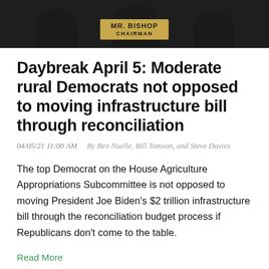[Figure (photo): Photo of a person at a congressional hearing desk with a nameplate reading MR. BISHOP CHAIRMAN, dark background with shadowy figures]
Daybreak April 5: Moderate rural Democrats not opposed to moving infrastructure bill through reconciliation
04/05/21 11:00 AM   By Ben Nuelle, Bill Tomson, and Steve Davies
The top Democrat on the House Agriculture Appropriations Subcommittee is not opposed to moving President Joe Biden's $2 trillion infrastructure bill through the reconciliation budget process if Republicans don't come to the table.
Read More